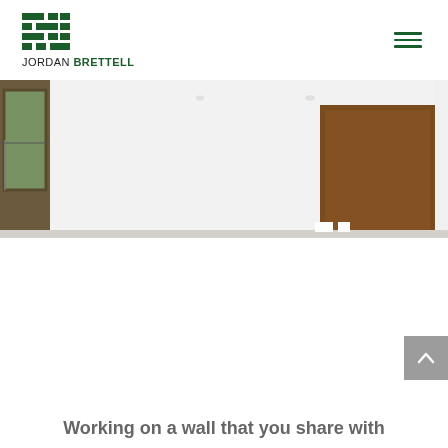JORDAN BRETTELL
[Figure (photo): Interior room photo showing white walls, wooden door panel on right, and window with outdoor view on left. Modern minimalist interior.]
Working on a wall that you share with